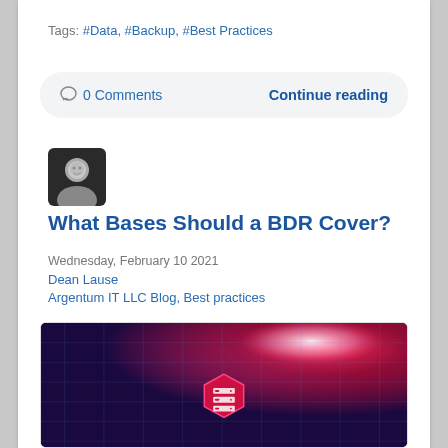Tags: #Data, #Backup, #Best Practices
○ 0 Comments   Continue reading
[Figure (photo): Profile avatar of Dean Lause - black and white headshot photo]
What Bases Should a BDR Cover?
Wednesday, February 10 2021
Dean Lause
Argentum IT LLC Blog, Best practices
[Figure (photo): Featured blog post image showing a data server room with glowing blue and red lights, hexagonal shapes and a storage server icon overlay]